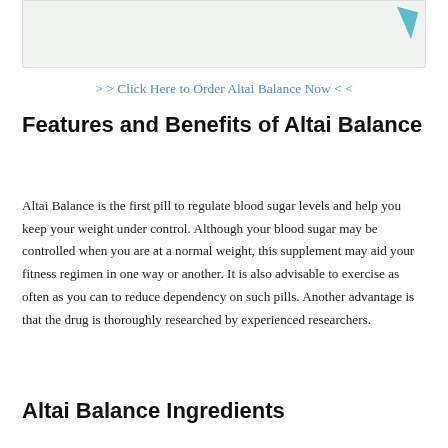[Figure (illustration): Partial image banner with a teal/blue arrow shape visible at the top right corner]
> > Click Here to Order Altai Balance Now < <
Features and Benefits of Altai Balance
Altai Balance is the first pill to regulate blood sugar levels and help you keep your weight under control. Although your blood sugar may be controlled when you are at a normal weight, this supplement may aid your fitness regimen in one way or another. It is also advisable to exercise as often as you can to reduce dependency on such pills. Another advantage is that the drug is thoroughly researched by experienced researchers.
Altai Balance Ingredients